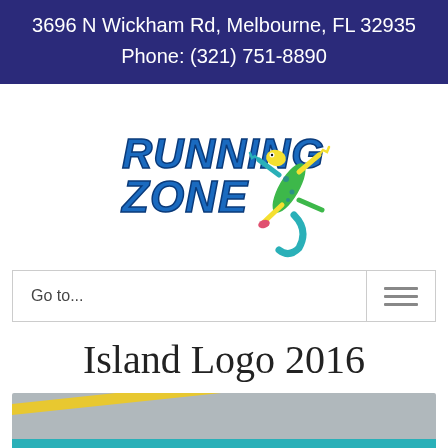3696 N Wickham Rd, Melbourne, FL 32935
Phone: (321) 751-8890
[Figure (logo): Running Zone logo with colorful gecko lizard mascot and italic blue text]
Go to...
Island Logo 2016
[Figure (photo): Partial photo of a shirt/apparel item in gray with yellow and teal design elements]